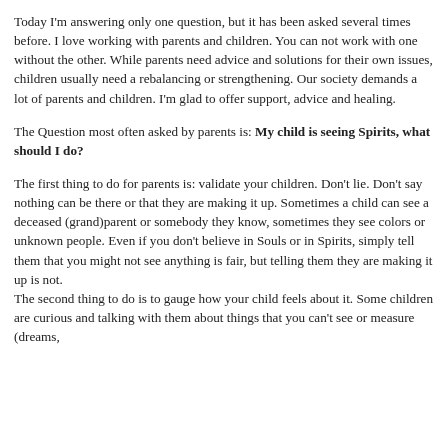Today I'm answering only one question, but it has been asked several times before. I love working with parents and children. You can not work with one without the other. While parents need advice and solutions for their own issues, children usually need a rebalancing or strengthening. Our society demands a lot of parents and children. I'm glad to offer support, advice and healing.
The Question most often asked by parents is: My child is seeing Spirits, what should I do?
The first thing to do for parents is: validate your children. Don't lie. Don't say nothing can be there or that they are making it up. Sometimes a child can see a deceased (grand)parent or somebody they know, sometimes they see colors or unknown people. Even if you don't believe in Souls or in Spirits, simply tell them that you might not see anything is fair, but telling them they are making it up is not. The second thing to do is to gauge how your child feels about it. Some children are curious and talking with them about things that you can't see or measure (dreams,